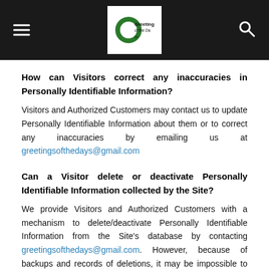Greeting of the Days - site header with navigation
How can Visitors correct any inaccuracies in Personally Identifiable Information?
Visitors and Authorized Customers may contact us to update Personally Identifiable Information about them or to correct any inaccuracies by emailing us at greetingsofthedays@gmail.com
Can a Visitor delete or deactivate Personally Identifiable Information collected by the Site?
We provide Visitors and Authorized Customers with a mechanism to delete/deactivate Personally Identifiable Information from the Site's database by contacting greetingsofthedays@gmail.com. However, because of backups and records of deletions, it may be impossible to delete a Visitor's entry without retaining some residual information. An individual who requests to have Personally Identifiable Information